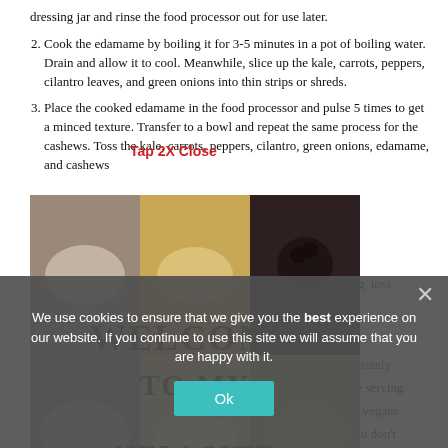dressing jar and rinse the food processor out for use later.
2. Cook the edamame by boiling it for 3-5 minutes in a pot of boiling water. Drain and allow it to cool. Meanwhile, slice up the kale, carrots, peppers, cilantro leaves, and green onions into thin strips or shreds.
3. Place the cooked edamame in the food processor and pulse 5 times to get a minced texture. Transfer to a bowl and repeat the same process for the cashews. Toss the kale, carrots, peppers, cilantro, green onions, edamame, and cashews [together. Add] essing, toss
[...] ing separately f[...] before serving. A[...] hey for vegans. T[...] so if you don't l[...]
[Figure (photo): Food collage with multiple dishes and Welcome To My New Site text overlay]
Tap 2X Close
We use cookies to ensure that we give you the best experience on our website. If you continue to use this site we will assume that you are happy with it.
Ok